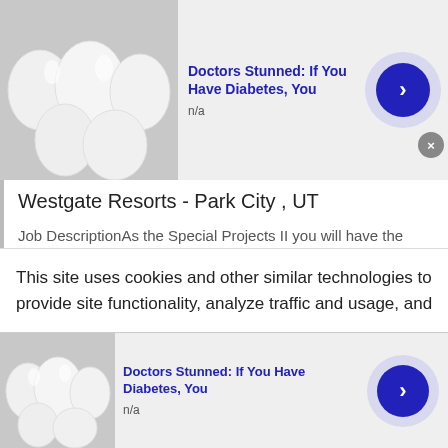[Figure (screenshot): Top advertisement banner with egg/white ball image, title 'Doctors Stunned: If You Have Diabetes, You', label 'n/a', lavender circle with blue arrow button, and grey close X button]
Westgate Resorts - Park City , UT
Job DescriptionAs the Special Projects II you will have the capacity to move from one construction disciple to another where demands require. You have will also have the ability to design and read plans or renderings to achieve desired objectives. Responsibilities:. Ensures project schedules are followed
Ability to read diagrams and plans
Operates forklift, and related equipment
Demolition
This site uses cookies and other similar technologies to provide site functionality, analyze traffic and usage, and
[Figure (screenshot): Bottom advertisement banner with egg/white ball image, title 'Doctors Stunned: If You Have Diabetes, You', label 'n/a', lavender circle with blue arrow button, and grey close X button]